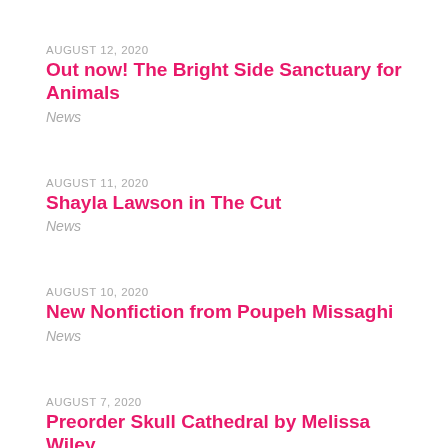AUGUST 12, 2020
Out now! The Bright Side Sanctuary for Animals
News
AUGUST 11, 2020
Shayla Lawson in The Cut
News
AUGUST 10, 2020
New Nonfiction from Poupeh Missaghi
News
AUGUST 7, 2020
Preorder Skull Cathedral by Melissa Wiley